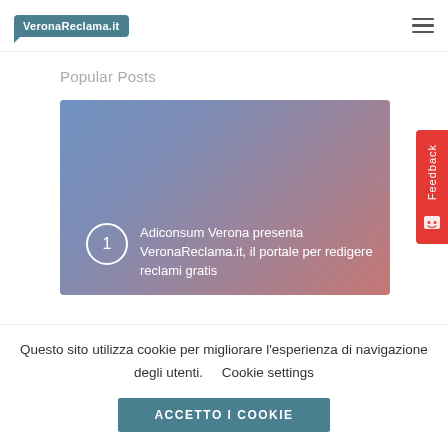VeronaReclama.it
Popular Posts
[Figure (photo): A photo of people using smartphones and a stylus on a table, overlaid with a blue-to-red gradient. Number 1 in a white circle on the left, with text: Adiconsum Verona presenta VeronaReclama.it, il portale per redigere reclami gratis]
Questo sito utilizza cookie per migliorare l’esperienza di navigazione degli utenti.   Cookie settings
ACCETTO I COOKIE